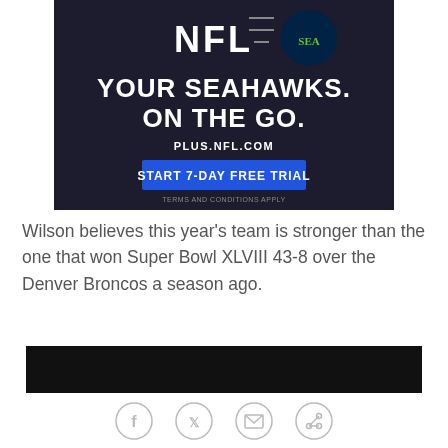[Figure (screenshot): NFL Plus advertisement banner with dark background. Shows NFL logo and Seattle Seahawks logo at top with dashed field lines between them. Text reads: YOUR SEAHAWKS. ON THE GO. PLUS.NFL.COM with a blue button saying START 7-DAY FREE TRIAL and fine print TERMS AND CONDITIONS APPLY]
Wilson believes this year's team is stronger than the one that won Super Bowl XLVIII 43-8 over the Denver Broncos a season ago.
[Figure (screenshot): Dark/black video player rectangle embedded in article]
[Figure (infographic): Social sharing icons row: Facebook, Twitter, Email, Link icons as circular outlines in gray]